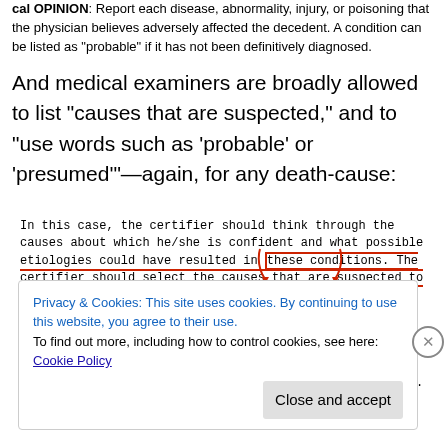cal OPINION: Report each disease, abnormality, injury, or poisoning that the physician believes adversely affected the decedent. A condition can be listed as "probable" if it has not been definitively diagnosed.
And medical examiners are broadly allowed to list “causes that are suspected,” and to “use words such as ‘probable’ or ‘presumed’”—again, for any death-cause:
In this case, the certifier should think through the causes about which he/she is confident and what possible etiologies could have resulted in these conditions. The certifier should select the causes that are suspected to have been involved and use words such as “probable” or “presumed” to indicate that the description provided is not completely certain. Causes of death on the fetal death report should not include terms such as “prema-turity” without explaining the etiology because they have little value for public health or medical research.
Privacy & Cookies: This site uses cookies. By continuing to use this website, you agree to their use. To find out more, including how to control cookies, see here: Cookie Policy